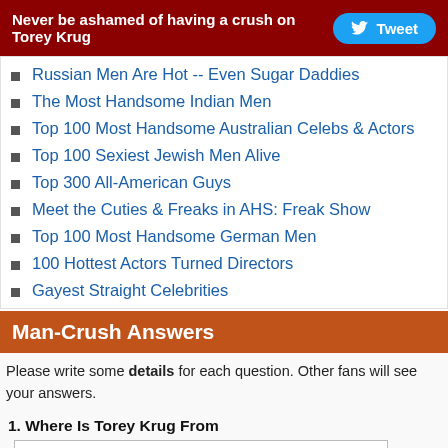Never be ashamed of having a crush on Torey Krug  Tweet
Russian Men Are Hot -- Even Sugar Daddies
The Most Handsome Indian Men
Top 100 Most Handsome Australian Celebs & Actors
Top 100 Sexiest Jewish Men Alive
Top 300 All-American Guys
Meet the Cuties & Freaks in AHS: Freak Show
Top 100 Most Handsome German Men
100 Hottest Actors Turned Directors
Gayest Straight Celebrities
Man-Crush Answers
Please write some details for each question. Other fans will see your answers.
1. Where Is Torey Krug From